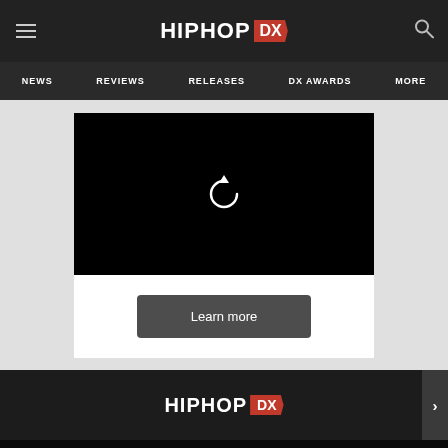HIPHOP DX
NEWS  REVIEWS  RELEASES  DX AWARDS  MORE
[Figure (screenshot): Black video player area with a white circular replay/refresh arrow icon in the center]
Learn more
HIPHOP DX
Social media icons: Facebook, Twitter, YouTube, Search